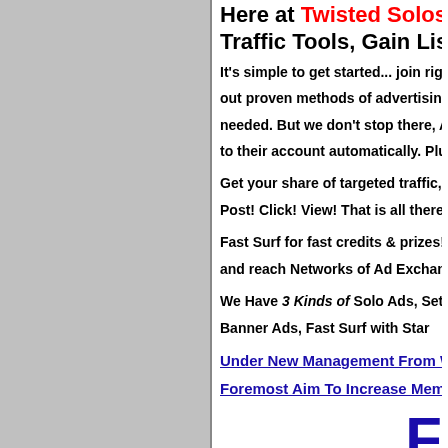Here at Twisted Solos, is You... Traffic Tools, Gain List Buildi...
It's simple to get started... join right... out proven methods of advertising! n... needed. But we don't stop there, ALL... to their account automatically. Plus,...
Get your share of targeted traffic, bu... Post! Click! View! That is all there is...
Fast Surf for fast credits & prizes! S... and reach Networks of Ad Exchange...
We Have 3 Kinds of Solo Ads, Set &... Banner Ads, Fast Surf with Star...
Under New Management From Wedne... Foremost Aim To Increase Membershi...
F...